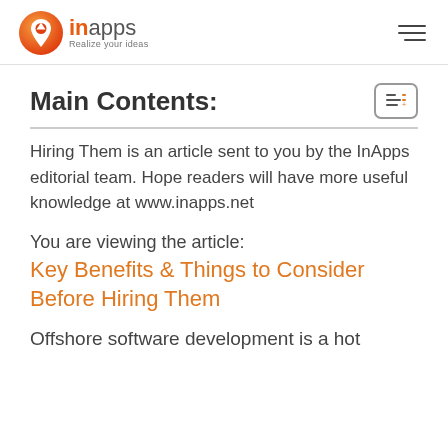[Figure (logo): InApps logo with orange circle icon and text 'inapps Realize your ideas']
Main Contents:
Hiring Them is an article sent to you by the InApps editorial team. Hope readers will have more useful knowledge at www.inapps.net
You are viewing the article:
Key Benefits & Things to Consider Before Hiring Them
Offshore software development is a hot